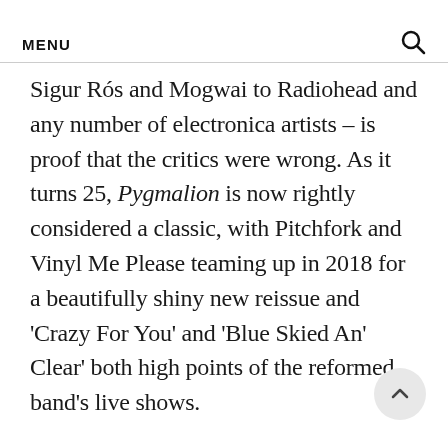MENU
Sigur Rós and Mogwai to Radiohead and any number of electronica artists – is proof that the critics were wrong. As it turns 25, Pygmalion is now rightly considered a classic, with Pitchfork and Vinyl Me Please teaming up in 2018 for a beautifully shiny new reissue and 'Crazy For You' and 'Blue Skied An' Clear' both high points of the reformed band's live shows.